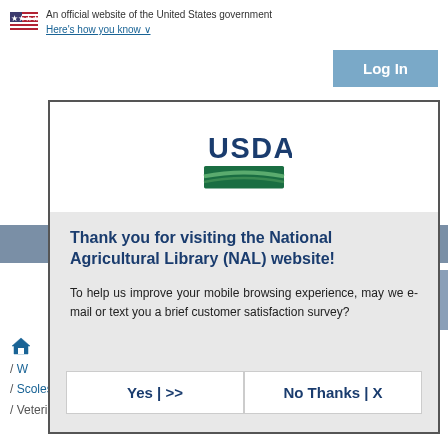An official website of the United States government
Here's how you know
Thank you for visiting the National Agricultural Library (NAL) website!
To help us improve your mobile browsing experience, may we e-mail or text you a brief customer satisfaction survey?
Yes | >>
No Thanks | X
/ W
/ Scoles, Glen A. / pyrosequencing / microbiome
/ Veterinary Pest Genomics Center